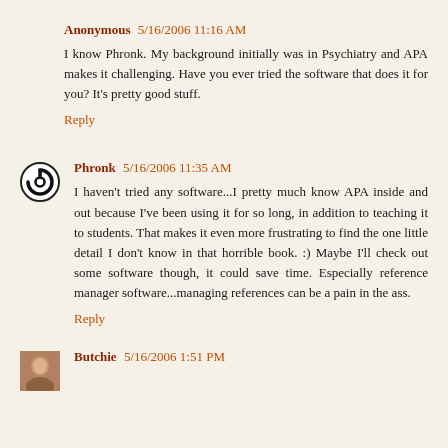Anonymous 5/16/2006 11:16 AM
I know Phronk. My background initially was in Psychiatry and APA makes it challenging. Have you ever tried the software that does it for you? It's pretty good stuff.
Reply
Phronk 5/16/2006 11:35 AM
I haven't tried any software...I pretty much know APA inside and out because I've been using it for so long, in addition to teaching it to students. That makes it even more frustrating to find the one little detail I don't know in that horrible book. :) Maybe I'll check out some software though, it could save time. Especially reference manager software...managing references can be a pain in the ass.
Reply
Butchie 5/16/2006 1:51 PM